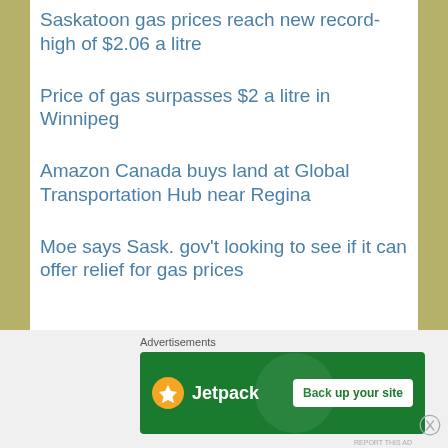Saskatoon gas prices reach new record-high of $2.06 a litre
Price of gas surpasses $2 a litre in Winnipeg
Amazon Canada buys land at Global Transportation Hub near Regina
Moe says Sask. gov't looking to see if it can offer relief for gas prices
[Figure (infographic): Jetpack advertisement banner with logo and 'Back up your site' call-to-action button on green background]